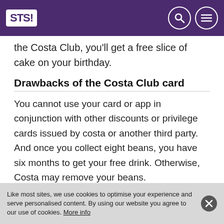STS!
the Costa Club, you'll get a free slice of cake on your birthday.
Drawbacks of the Costa Club card
You cannot use your card or app in conjunction with other discounts or privilege cards issued by costa or another third party. And once you collect eight beans, you have six months to get your free drink. Otherwise, Costa may remove your beans.
Get your Coffee Club card »
Like most sites, we use cookies to optimise your experience and serve personalised content. By using our website you agree to our use of cookies. More info